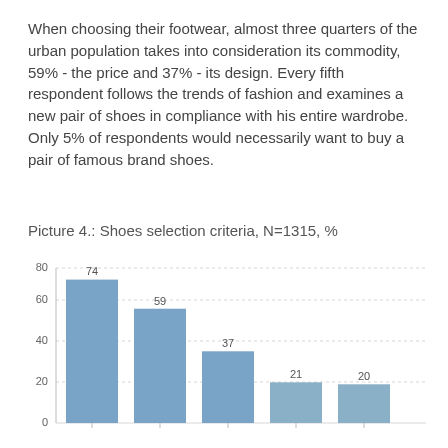When choosing their footwear, almost three quarters of the urban population takes into consideration its commodity, 59% - the price and 37% - its design. Every fifth respondent follows the trends of fashion and examines a new pair of shoes in compliance with his entire wardrobe. Only 5% of respondents would necessarily want to buy a pair of famous brand shoes.
Picture 4.: Shoes selection criteria, N=1315, %
[Figure (bar-chart): Shoes selection criteria, N=1315, %]